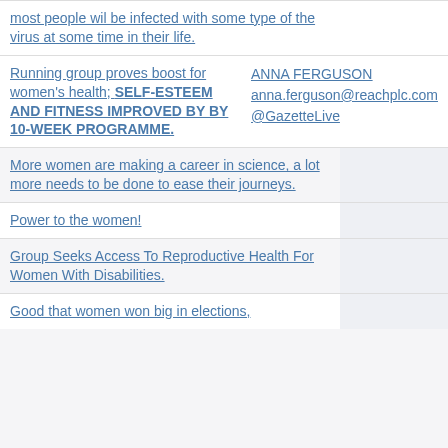most people wil be infected with some type of the virus at some time in their life.
Running group proves boost for women's health; SELF-ESTEEM AND FITNESS IMPROVED BY BY 10-WEEK PROGRAMME.
ANNA FERGUSON
anna.ferguson@reachplc.com
@GazetteLive
More women are making a career in science, a lot more needs to be done to ease their journeys.
Power to the women!
Group Seeks Access To Reproductive Health For Women With Disabilities.
Good that women won big in elections,